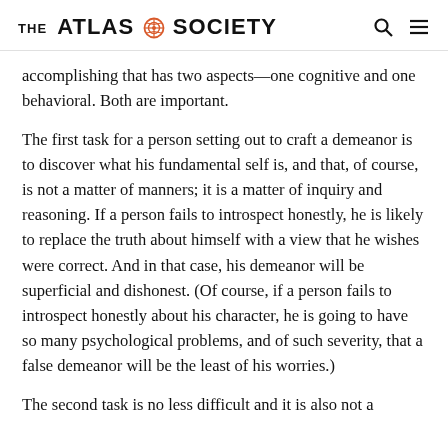THE ATLAS SOCIETY
accomplishing that has two aspects—one cognitive and one behavioral. Both are important.
The first task for a person setting out to craft a demeanor is to discover what his fundamental self is, and that, of course, is not a matter of manners; it is a matter of inquiry and reasoning. If a person fails to introspect honestly, he is likely to replace the truth about himself with a view that he wishes were correct. And in that case, his demeanor will be superficial and dishonest. (Of course, if a person fails to introspect honestly about his character, he is going to have so many psychological problems, and of such severity, that a false demeanor will be the least of his worries.)
The second task is no less difficult and it is also not a